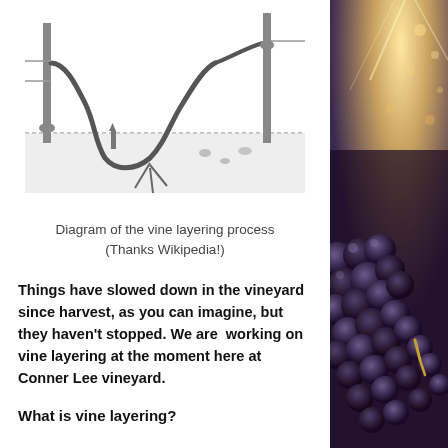[Figure (illustration): Grayscale diagram showing the vine layering process, depicting a vine shoot being bent down into the soil and looped back up, with roots forming underground. Black and white technical illustration.]
Diagram of the vine layering process (Thanks Wikipedia!)
Things have slowed down in the vineyard since harvest, as you can imagine, but they haven't stopped. We are  working on vine layering at the moment here at Conner Lee vineyard.
What is vine layering?
[Figure (photo): Photo of dark purple/blue wine grapes in a vineyard with bright sunlight in the background, taken from a low angle looking through the grape clusters.]